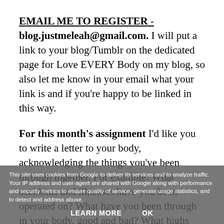EMAIL ME TO REGISTER - blog.justmeleah@gmail.com. I will put a link to your blog/Tumblr on the dedicated page for Love EVERY Body on my blog, so also let me know in your email what your link is and if you're happy to be linked in this way.

For this month's assignment I'd like you to write a letter to your body, acknowledging the things you've been through together. For example: What accidents and illnesses have you been operated on? What have you been through in your body, good and bad? What highs and lows have there been? Does your body make you feel happy, sad, disappointed? Do you feel at one with
This site uses cookies from Google to deliver its services and to analyze traffic. Your IP address and user-agent are shared with Google along with performance and security metrics to ensure quality of service, generate usage statistics, and to detect and address abuse.
LEARN MORE    OK